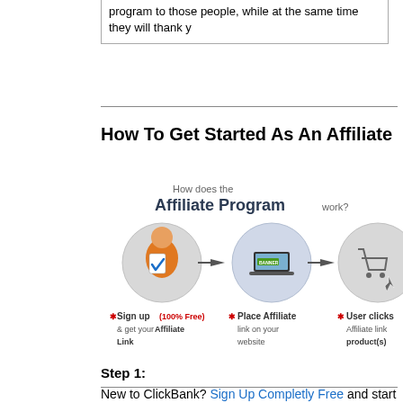program to those people, while at the same time they will thank y
How To Get Started As An Affiliate
[Figure (infographic): Affiliate program diagram showing: 'How does the Affiliate Program work?' with three steps: 1) Sign up (100% Free) & get your Affiliate Link, 2) Place Affiliate link on your website, 3) User clicks Affiliate link product(s). Each step has an icon (person with checkmark, laptop with banner, shopping cart) connected by arrows.]
Step 1:
New to ClickBank? Sign Up Completly Free and start earning